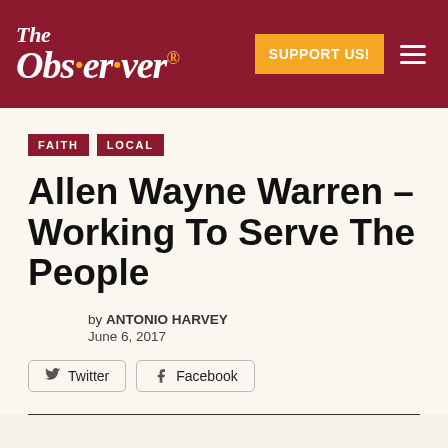The Observer
FAITH
LOCAL
Allen Wayne Warren – Working To Serve The People
by ANTONIO HARVEY
June 6, 2017
Twitter   Facebook